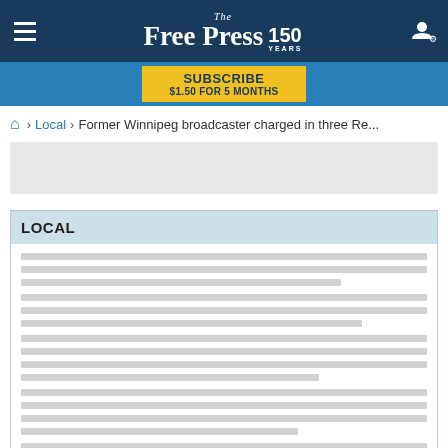The Free Press 150 YEARS
SUBSCRIBE $1.50 FOR 5 MONTHS
🏠 > Local > Former Winnipeg broadcaster charged in three Re...
LOCAL
LOAD MORE LOCAL